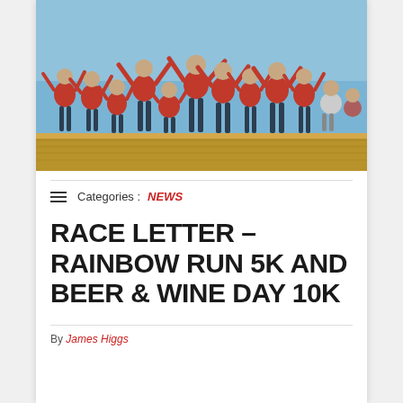[Figure (photo): Group of people in red shirts standing on top of a wooden obstacle, arms raised, celebrating at a race event. Blue sky background.]
Categories : NEWS
RACE LETTER – RAINBOW RUN 5K AND BEER & WINE DAY 10K
By James Higgs